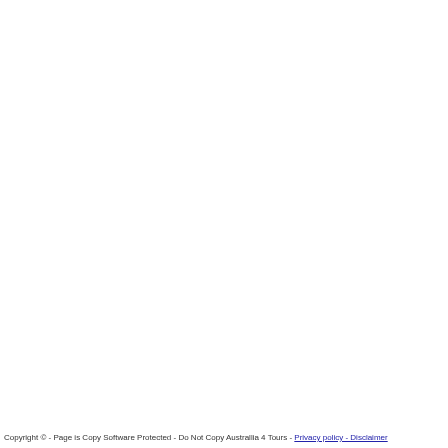Copyright © - Page is Copy Software Protected - Do Not Copy Australlia 4 Tours - Privacy policy - Disclaimer